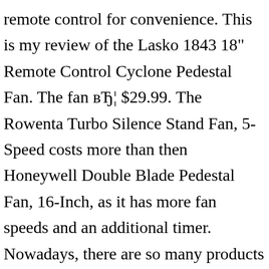remote control for convenience. This is my review of the Lasko 1843 18" Remote Control Cyclone Pedestal Fan. The fan вЂ¦ $29.99. The Rowenta Turbo Silence Stand Fan, 5-Speed costs more than then Honeywell Double Blade Pedestal Fan, 16-Inch, as it has more fan speeds and an additional timer. Nowadays, there are so many products of lasko 16 oscillating in the market and you are wondering to choose a best one.You have searched for lasko 16 oscillating in many merchants, compared about products prices & reviews before